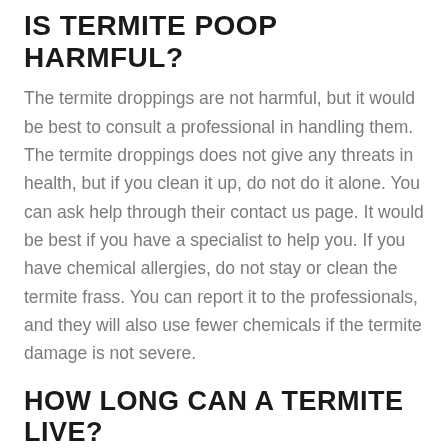IS TERMITE POOP HARMFUL?
The termite droppings are not harmful, but it would be best to consult a professional in handling them. The termite droppings does not give any threats in health, but if you clean it up, do not do it alone. You can ask help through their contact us page. It would be best if you have a specialist to help you. If you have chemical allergies, do not stay or clean the termite frass. You can report it to the professionals, and they will also use fewer chemicals if the termite damage is not severe.
HOW LONG CAN A TERMITE LIVE?
Termites are everywhere; it is just that you do